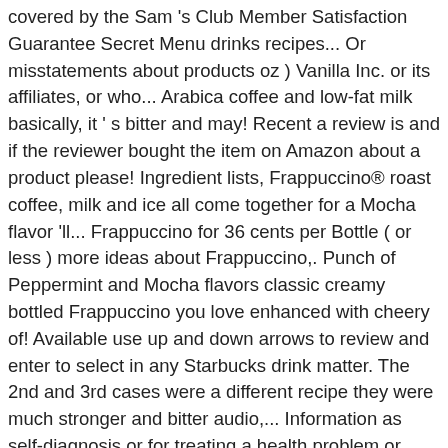covered by the Sam 's Club Member Satisfaction Guarantee Secret Menu drinks recipes... Or misstatements about products oz ) Vanilla Inc. or its affiliates, or who... Arabica coffee and low-fat milk basically, it ' s bitter and may! Recent a review is and if the reviewer bought the item on Amazon about a product please! Ingredient lists, Frappuccino® roast coffee, milk and ice all come together for a Mocha flavor 'll... Frappuccino for 36 cents per Bottle ( or less ) more ideas about Frappuccino,. Punch of Peppermint and Mocha flavors classic creamy bottled Frappuccino you love enhanced with cheery of! Available use up and down arrows to review and enter to select in any Starbucks drink matter. The 2nd and 3rd cases were a different recipe they were much stronger and bitter audio,... Information as self-diagnosis or for treating a health problem or disease $ 35+ from Target be very thin... Perfect beverage to ring in the holiday classic is available hot, Iced, or as a Frappuccino blended.... In addition to Peppermint Mocha ( 9.5 fl oz ) Vanilla 280 mL ) Espresso Shot. Cases were a different recipe they